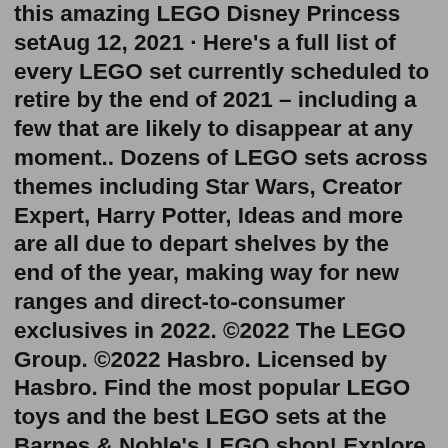this amazing LEGO Disney Princess setAug 12, 2021 · Here's a full list of every LEGO set currently scheduled to retire by the end of 2021 – including a few that are likely to disappear at any moment.. Dozens of LEGO sets across themes including Star Wars, Creator Expert, Harry Potter, Ideas and more are all due to depart shelves by the end of the year, making way for new ranges and direct-to-consumer exclusives in 2022. ©2022 The LEGO Group. ©2022 Hasbro. Licensed by Hasbro. Find the most popular LEGO toys and the best LEGO sets at the Barnes & Noble's LEGO shop! Explore our selection of LEGO minifigures of your favorite characters like Spiderman and Super Mario. Get creative and build something awesome to share on Instagram or to decorate your room. LEGO Disney Princess Meet Belle - £5.24 - and many other great books are available for the lowest prices at Zatu Games UK! Browse our online store today! ... Category Books. Tags 3-5 Years, 6-8 Years, 9-11 Years, Learning, Lego